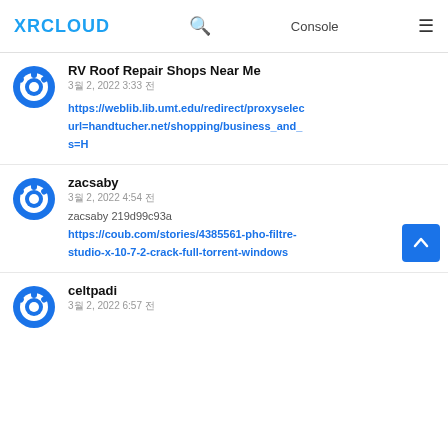XRCLOUD | Console
RV Roof Repair Shops Near Me
3월 2, 2022 3:33 전
https://weblib.lib.umt.edu/redirect/proxyselect?url=handtucher.net/shopping/business_and_s=H
zacsaby
3월 2, 2022 4:54 전
zacsaby 219d99c93a
https://coub.com/stories/4385561-pho-filtre-studio-x-10-7-2-crack-full-torrent-windows
celtpadi
3월 2, 2022 6:57 전